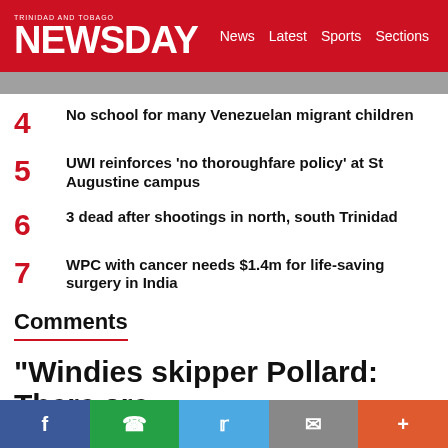TRINIDAD AND TOBAGO NEWSDAY — News  Latest  Sports  Sections
4  No school for many Venezuelan migrant children
5  UWI reinforces 'no thoroughfare policy' at St Augustine campus
6  3 dead after shootings in north, south Trinidad
7  WPC with cancer needs $1.4m for life-saving surgery in India
Comments
"Windies skipper Pollard: There are